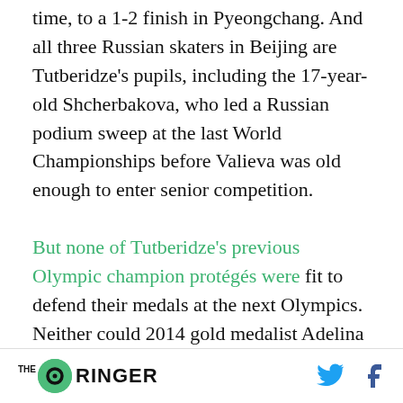time, to a 1-2 finish in Pyeongchang. And all three Russian skaters in Beijing are Tutberidze's pupils, including the 17-year-old Shcherbakova, who led a Russian podium sweep at the last World Championships before Valieva was old enough to enter senior competition.
But none of Tutberidze's previous Olympic champion protégés were fit to defend their medals at the next Olympics. Neither could 2014 gold medalist Adelina Sotnikova, who was not coached by Tutberidze. Every female Russian [skater competing at the next level had...]
THE RINGER